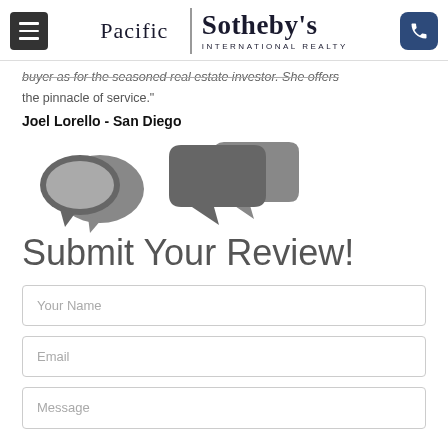Pacific | Sotheby's INTERNATIONAL REALTY
buyer as for the seasoned real estate investor. She offers the pinnacle of service."
Joel Lorello - San Diego
[Figure (illustration): Two overlapping speech/chat bubble icons in gray]
Submit Your Review!
Your Name
Email
Message